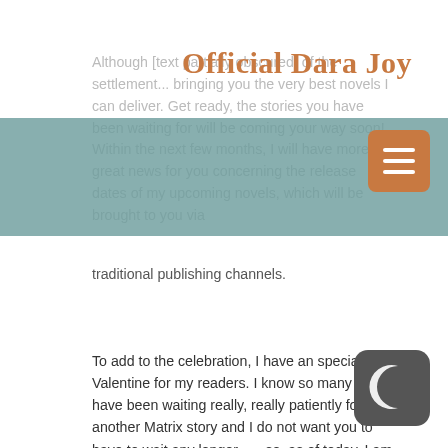Official Dara Joy
Although [text partially obscured by nav bar] of the settlement... bringing you the very best novels I can deliver. Get ready, the stories you have been waiting for will be coming your way soon! Within the next few months, I will have more great news for you concerning the release dates of my upcoming novels, which will be brought to you via traditional publishing channels.
To add to the celebration, I have an special Valentine for my readers. I know so many of you have been waiting really, really patiently for another Matrix story and I do not want you to have to wait any longer . . . so, as of today, I am immediately releasing a brand new Matrix of Destiny story called:
DEATH BY PLOOT PLOOT!
We will be doing this for a limited time only so if you